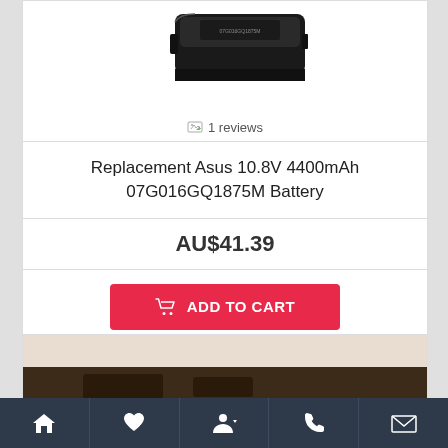[Figure (photo): Partial product image of a black laptop battery (Asus 07G016GQ1875M), showing the top portion of the battery in a white card area.]
1 reviews
Replacement Asus 10.8V 4400mAh 07G016GQ1875M Battery
AU$41.39
ADD TO CART
Add to Wish List
Compare this Product
[Figure (photo): Partial view of a second product image (cropped), showing a dark background with some product items visible at the bottom edge.]
Home | Wish List | Account | Phone | Email — bottom navigation bar